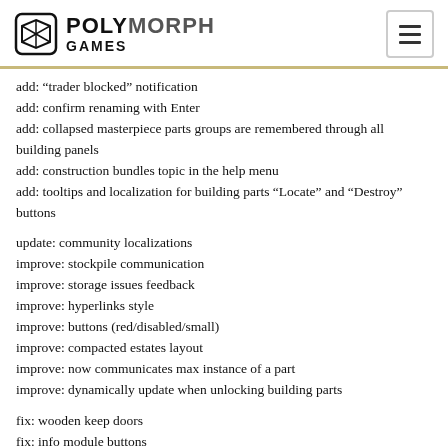POLYMORPH GAMES
add: “trader blocked” notification
add: confirm renaming with Enter
add: collapsed masterpiece parts groups are remembered through all building panels
add: construction bundles topic in the help menu
add: tooltips and localization for building parts “Locate” and “Destroy” buttons
update: community localizations
improve: stockpile communication
improve: storage issues feedback
improve: hyperlinks style
improve: buttons (red/disabled/small)
improve: compacted estates layout
improve: now communicates max instance of a part
improve: dynamically update when unlocking building parts
fix: wooden keep doors
fix: info module buttons